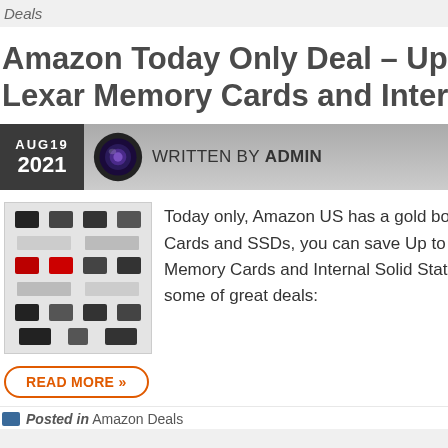Deals
Amazon Today Only Deal – Up to 35% off Lexar Memory Cards and Internal SSDs
AUG19 2021  WRITTEN BY ADMIN
[Figure (photo): Grid of Lexar memory card and SSD product images]
Today only, Amazon US has a gold box deal on Lexar Memory Cards and SSDs, you can save Up to 35% on Lexar Memory Cards and Internal Solid State Drives. Here are some of great deals:
READ MORE »
Posted in Amazon Deals